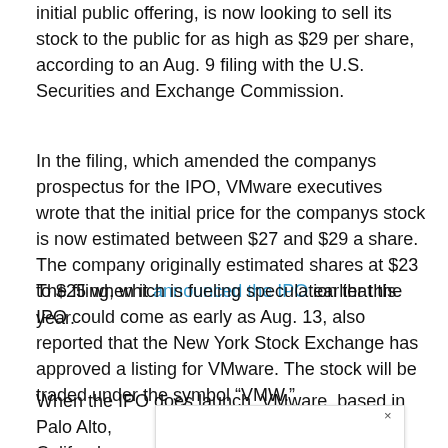initial public offering, is now looking to sell its stock to the public for as high as $29 per share, according to an Aug. 9 filing with the U.S. Securities and Exchange Commission.
In the filing, which amended the companys prospectus for the IPO, VMware executives wrote that the initial price for the companys stock is now estimated between $27 and $29 a share. The company originally estimated shares at $23 to $25 when it announced the IPO earlier this year.
The filing, which is fueling speculation that the IPO could come as early as Aug. 13, also reported that the New York Stock Exchange has approved a listing for VMware. The stock will be traded under the symbol “VMW.”
When the IPO does launch, VMware, based in Palo Alto, Calif., pl… that amount,… ion